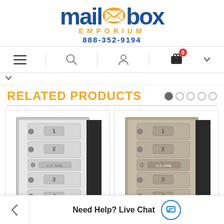[Figure (logo): Mailbox Emporium logo with blue 'mailbox' text, orange envelope icon in circle, orange 'EMPORIUM' text, and blue phone number 888-352-9194]
[Figure (screenshot): Navigation bar with hamburger menu, search icon, user icon, cart icon with badge '0', and expand arrow]
RELATED PRODUCTS
[Figure (photo): White/silver 4-door recessed mailbox unit with numbered compartments 1-4 and center mail slot]
[Figure (photo): Tan/sandstone 4-door recessed mailbox unit with numbered compartments 1-4 and center mail slot]
Need Help? Live Chat